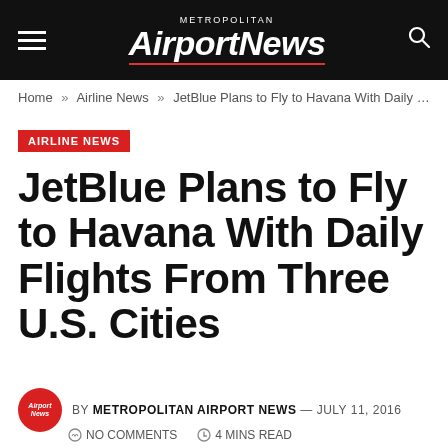Metropolitan Airport News
Home » Airline News » JetBlue Plans to Fly to Havana With Daily Fli...
AIRLINE NEWS
JetBlue Plans to Fly to Havana With Daily Flights From Three U.S. Cities
BY METROPOLITAN AIRPORT NEWS — JULY 11, 2016
NO COMMENTS  4 MINS READ